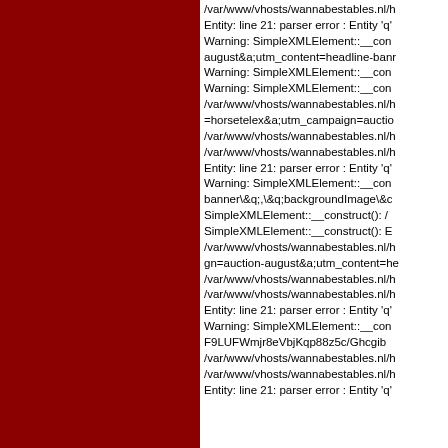[Figure (other): Dark red/maroon background panel on the left side of the page]
/var/www/vhosts/wannabestables.nl/h
Entity: line 21: parser error : Entity 'q'
Warning: SimpleXMLElement::__con
auguest&a;utm_content=headline-banr
Warning: SimpleXMLElement::__con
Warning: SimpleXMLElement::__con
/var/www/vhosts/wannabestables.nl/h
=horsetelex&a;utm_campaign=auctio
/var/www/vhosts/wannabestables.nl/h
/var/www/vhosts/wannabestables.nl/h
Entity: line 21: parser error : Entity 'q'
Warning: SimpleXMLElement::__con
banner\&q;,\&q;backgroundImage\&c
SimpleXMLElement::__construct(): /
SimpleXMLElement::__construct(): E
/var/www/vhosts/wannabestables.nl/h
gn=auction-august&a;utm_content=he
/var/www/vhosts/wannabestables.nl/h
/var/www/vhosts/wannabestables.nl/h
Entity: line 21: parser error : Entity 'q'
Warning: SimpleXMLElement::__con
F9LUFWmjr8eVbjKqp88z5c/Ghcgib
/var/www/vhosts/wannabestables.nl/h
/var/www/vhosts/wannabestables.nl/h
Entity: line 21: parser error : Entity 'q'